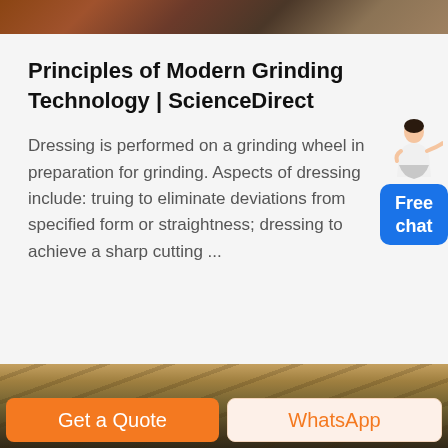[Figure (photo): Top partial image of what appears to be an industrial/factory setting with reddish-brown tones]
Principles of Modern Grinding Technology | ScienceDirect
Dressing is performed on a grinding wheel in preparation for grinding. Aspects of dressing include: truing to eliminate deviations from specified form or straightness; dressing to achieve a sharp cutting ...
[Figure (photo): Bottom partial image of what appears to be a mining or quarry site with machinery on a hillside]
Get a Quote
WhatsApp